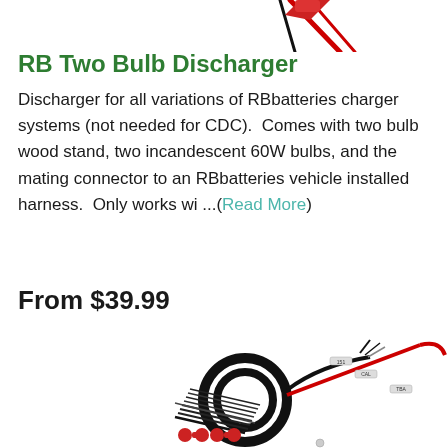[Figure (photo): Partial top view of a red and black wire connector/harness product]
RB Two Bulb Discharger
Discharger for all variations of RBbatteries charger systems (not needed for CDC).  Comes with two bulb wood stand, two incandescent 60W bulbs, and the mating connector to an RBbatteries vehicle installed harness.  Only works wi ...(Read More)
From $39.99
[Figure (photo): Product photo showing black wiring harness coil, cable ties, red connectors, and red/black wires with white labeled connectors]